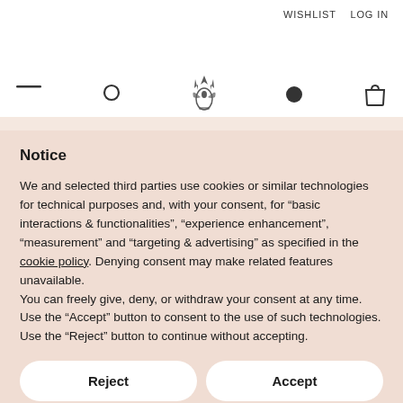WISHLIST   LOG IN
[Figure (other): Website navigation bar with hamburger menu, search icon, decorative crown/crest logo, profile icon, and shopping bag icon]
Notice
We and selected third parties use cookies or similar technologies for technical purposes and, with your consent, for “basic interactions & functionalities”, “experience enhancement”, “measurement” and “targeting & advertising” as specified in the cookie policy. Denying consent may make related features unavailable.
You can freely give, deny, or withdraw your consent at any time. Use the “Accept” button to consent to the use of such technologies. Use the “Reject” button to continue without accepting.
Reject
Accept
Learn more and customise